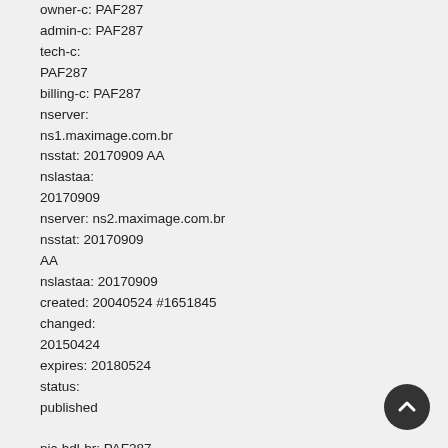owner-c: PAF287
admin-c: PAF287
tech-c:
PAF287
billing-c: PAF287
nserver:
ns1.maximage.com.br
nsstat: 20170909 AA
nslastaa:
20170909
nserver: ns2.maximage.com.br
nsstat: 20170909
AA
nslastaa: 20170909
created: 20040524 #1651845
changed:
20150424
expires: 20180524
status:
published

nic-hdl-br: PAF287
person: Patrick
Flemer
created: 20040213
changed: 20141002

% Security